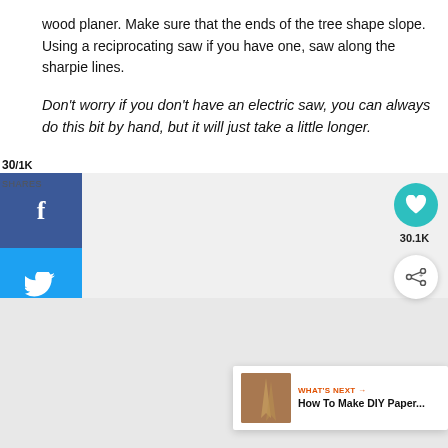wood planer. Make sure that the ends of the tree shape slope. Using a reciprocating saw if you have one, saw along the sharpie lines.
Don't worry if you don't have an electric saw, you can always do this bit by hand, but it will just take a little longer.
[Figure (screenshot): Social media sharing sidebar with Facebook (f icon, blue), Twitter (bird icon, light blue), and Pinterest (p icon, red) share buttons. Overlaid count showing '30' and '1K SHARES'. A floating teal heart button showing 30.1K and a share button below it. Gray image placeholder area in background. 'WHAT'S NEXT' banner in bottom right with thumbnail and text 'How To Make DIY Paper...']